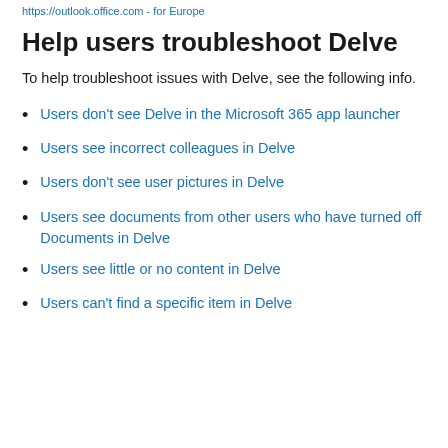https://outlook.office.com - for Europe
Help users troubleshoot Delve
To help troubleshoot issues with Delve, see the following info.
Users don't see Delve in the Microsoft 365 app launcher
Users see incorrect colleagues in Delve
Users don't see user pictures in Delve
Users see documents from other users who have turned off Documents in Delve
Users see little or no content in Delve
Users can't find a specific item in Delve